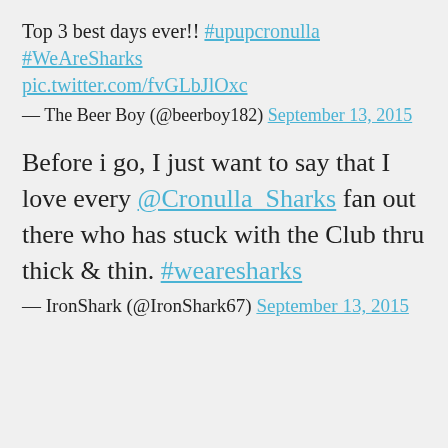Top 3 best days ever!! #upupcronulla #WeAreSharks pic.twitter.com/fvGLbJlOxc
— The Beer Boy (@beerboy182) September 13, 2015
Before i go, I just want to say that I love every @Cronulla_Sharks fan out there who has stuck with the Club thru thick & thin. #wearesharks
— IronShark (@IronShark67) September 13, 2015